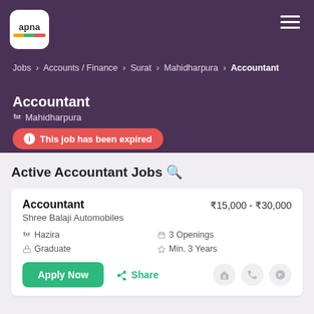[Figure (logo): apna app logo — white rounded square with 'apna' text and colored bar]
Jobs > Accounts / Finance > Surat > Mahidharpura > Accountant
Accountant
Mahidharpura
This job has been expired
Active Accountant Jobs 🔍
Accountant
Shree Balaji Automobiles
₹15,000 - ₹30,000
Hazira   3 Openings
Graduate   Min. 3 Years
Apply Now   Share